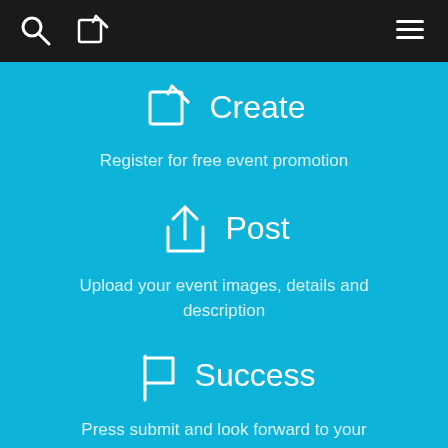[Figure (screenshot): Dark top navigation bar with search icon, edit/compose icon on the left, and hamburger menu on the right]
Create
Register for free event promotion
Post
Upload your event images, details and description
Success
Press submit and look forward to your